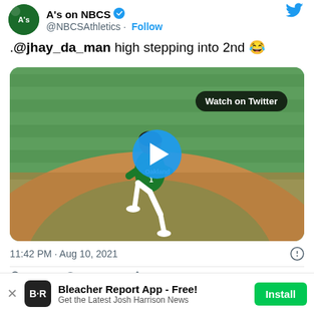A's on NBCS @NBCSAthletics · Follow
.@jhay_da_man high stepping into 2nd 😂
[Figure (screenshot): Video thumbnail of a baseball player in a green Oakland Athletics uniform high-stepping around second base on a baseball field. A blue play button circle is overlaid in the center. A 'Watch on Twitter' badge is shown in the upper right of the video.]
11:42 PM · Aug 10, 2021
♡ 170   Reply   Copy link
Read 4 replies
Bleacher Report App - Free! Get the Latest Josh Harrison News